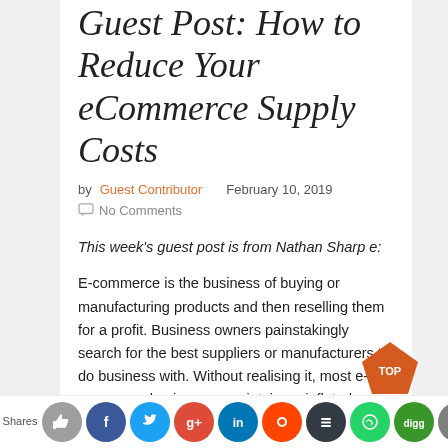Guest Post: How to Reduce Your eCommerce Supply Costs
by Guest Contributor   February 10, 2019
No Comments
This week's guest post is from Nathan Sharpe:
E-commerce is the business of buying or manufacturing products and then reselling them for a profit. Business owners painstakingly search for the best suppliers or manufacturers to do business with. Without realising it, most e-commerce businesses maintain an inflated budget to cover unnecessary costs.